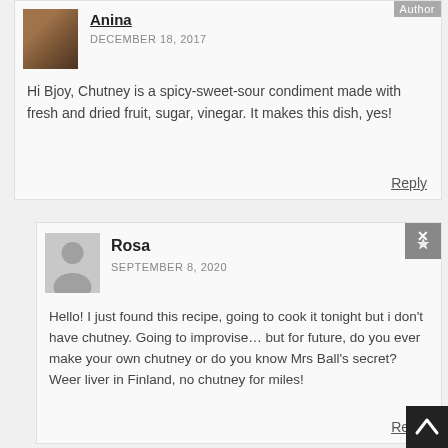Anina
DECEMBER 18, 2017
Hi Bjoy, Chutney is a spicy-sweet-sour condiment made with fresh and dried fruit, sugar, vinegar. It makes this dish, yes!
Reply
Rosa
SEPTEMBER 8, 2020
Hello! I just found this recipe, going to cook it tonight but i don't have chutney. Going to improvise… but for future, do you ever make your own chutney or do you know Mrs Ball's secret? Weer liver in Finland, no chutney for miles!
Reply